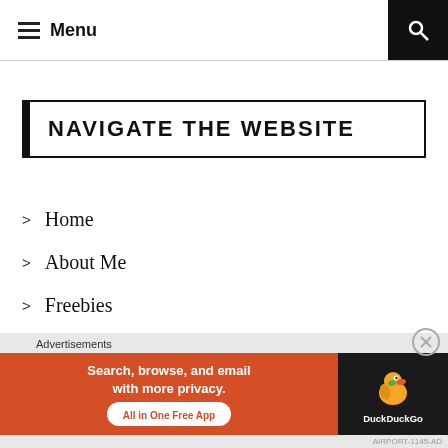Menu
NAVIGATE THE WEBSITE
Home
About Me
Freebies
E-book
Lock Screen
Advertisements
[Figure (infographic): DuckDuckGo advertisement banner: orange background with text 'Search, browse, and email with more privacy. All in One Free App' and DuckDuckGo duck logo on dark background]